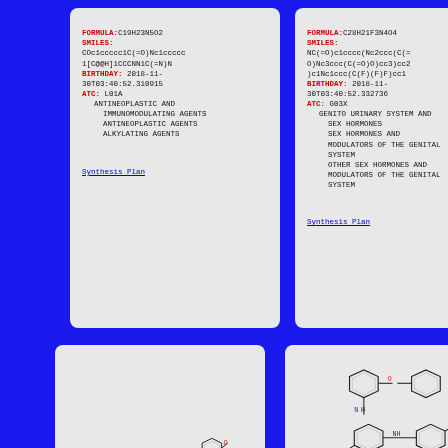FORMULA: C19H23N5O2
SMILES:
COc1ccccc1C(=O)Nc1ccccc1[C@@H]1CCCNN1C(=N)N
BIRTHDAY: 2018-11-30T03:40:52.310915
ATC: L01A
  ANTINEOPLASTIC AND IMMUNOMODULATING AGENTS
  ANTINEOPLASTIC AGENTS
  ALKYLATING AGENTS
Synthesis Plan
FORMULA: C28H21F3N4O4
SMILES:
NC(=O)c1cccc(Nc2ccc(C(=O)Nc3ccc(C(=O)O)cc3)cc2)c1Nc1ccc(C(F)(F)F)cc1
BIRTHDAY: 2018-11-30T03:40:52.332736
ATC: G03X
  GENITO URINARY SYSTEM AND SEX HORMONES
  SEX HORMONES AND MODULATORS OF THE GENITAL SYSTEM
  OTHER SEX HORMONES AND MODULATORS OF THE GENITAL SYSTEM
Synthesis Plan
[Figure (illustration): Chemical structure drawing of a long-chain molecule with a benzene ring and oxygen-containing functional groups at the right end]
[Figure (illustration): Chemical structure drawing of a complex molecule with multiple benzene rings, NH groups, C=O groups, and an OH group]